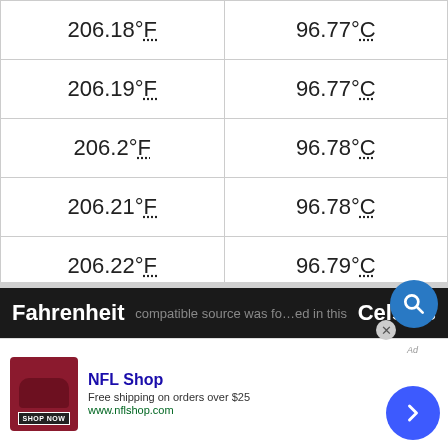| Fahrenheit | Celsius |
| --- | --- |
| 206.18°F | 96.77°C |
| 206.19°F | 96.77°C |
| 206.2°F | 96.78°C |
| 206.21°F | 96.78°C |
| 206.22°F | 96.79°C |
| 206.23°F | 96.79°C |
| 206.24°F | 96.8°C |
How to Convert From Fahrenheit to C...
Fahrenheit | Celsius
[Figure (screenshot): NFL Shop advertisement with shop now button, free shipping on orders over $25, www.nflshop.com]